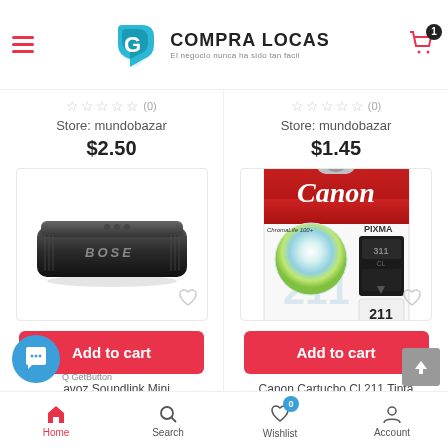Compra Locas - El negocio nunca ha sido tan facil
★★★★★ (0)  Store: mundobazar  $2.50
★★★★★ (0)  Store: mundobazar  $1.45
[Figure (photo): Bose SoundLink Mini bluetooth speaker in black]
[Figure (photo): Canon Cartucho CL 211 Tinta color ink cartridge for PIXMA]
Add to cart
Add to cart
...avoz Soundlink Mini
Canon Cartucho Cl 211 Tinta
Home  Search  Wishlist (0)  Account